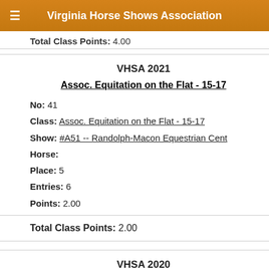Virginia Horse Shows Association
Total Class Points: 4.00
VHSA 2021
Assoc. Equitation on the Flat - 15-17
No: 41
Class: Assoc. Equitation on the Flat - 15-17
Show: #A51 -- Randolph-Macon Equestrian Cent
Horse:
Place: 5
Entries: 6
Points: 2.00
Total Class Points: 2.00
VHSA 2020
Assoc. Equitation on the Flat - 15-17